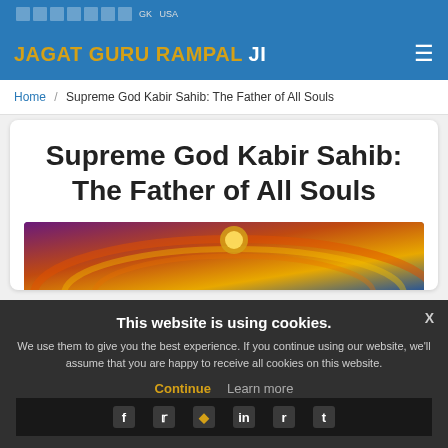JAGAT GURU RAMPAL JI
Home / Supreme God Kabir Sahib: The Father of All Souls
Supreme God Kabir Sahib: The Father of All Souls
[Figure (illustration): Colorful spiritual illustration with rainbow arc and glowing golden structure at top center, against purple and orange sky]
This website is using cookies.
We use them to give you the best experience. If you continue using our website, we'll assume that you are happy to receive all cookies on this website.
Continue   Learn more